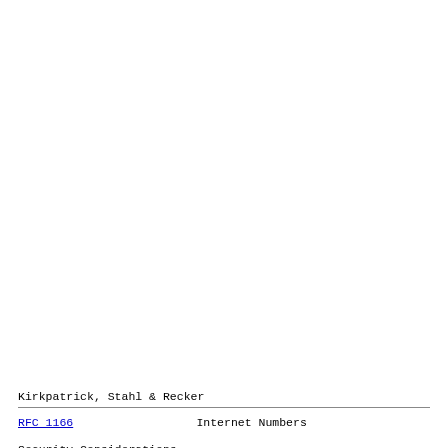Kirkpatrick, Stahl & Recker
RFC 1166                    Internet Numbers
Security Considerations
Security issues are not discussed in this memo.
Authors' Addresses
Sue Kirkpatrick
   SRI International
   Network Information Systems Center